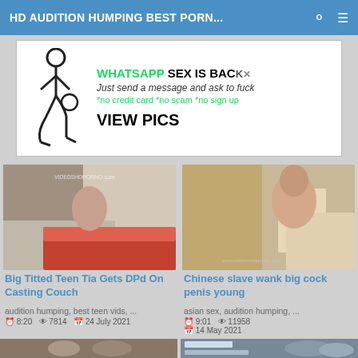HD AUDITION HUMPING BEST PORN...
[Figure (illustration): Advertisement banner: WhatsApp sex is back, stick figure graphic, text: Just send a message and ask to fuck, *no credit card *no scam *no sign up, VIEW PICS]
[Figure (photo): Video thumbnail: Big Titted Teen Tia Gets DPd On Casting Couch]
Big Titted Teen Tia Gets DPd On Casting Couch
audition humping, best teen vids, ...
8:20  7814  24 July 2021
[Figure (photo): Video thumbnail: Chinese slave wank big cock penis young]
Chinese slave wank big cock penis young
asian sex, audition humping, ...
9:01  11958  14 May 2021
[Figure (photo): Partial video thumbnail bottom left]
[Figure (photo): Partial video thumbnail bottom right with Korean text overlay]